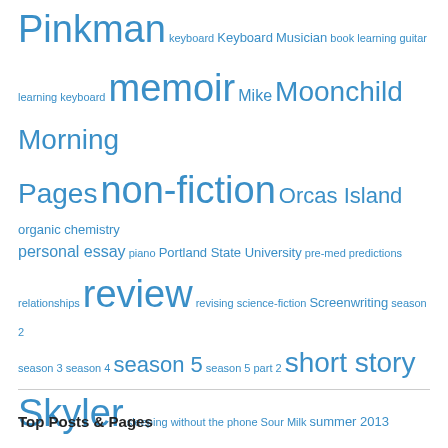[Figure (other): Tag cloud with various terms in different sizes, all in blue color. Tags include: Pinkman, keyboard, Keyboard, Musician, book, learning guitar, learning keyboard, memoir, Mike, Moonchild, Morning Pages, non-fiction, Orcas Island, organic chemistry, personal essay, piano, Portland State University, pre-med, predictions, relationships, review, revising, science-fiction, Screenwriting, season 2, season 3, season 4, season 5, season 5 part 2, short story, Skyler, sleeping without the phone, Sour Milk, summer 2013 episodes, superlab, suspense, Tarot, Taylor Swift, The Artist's Way, The Artist's Way Reflections, Tori Amos, Vince Gilligan, Visual impairment, Walter White, writing contest]
Top Posts & Pages